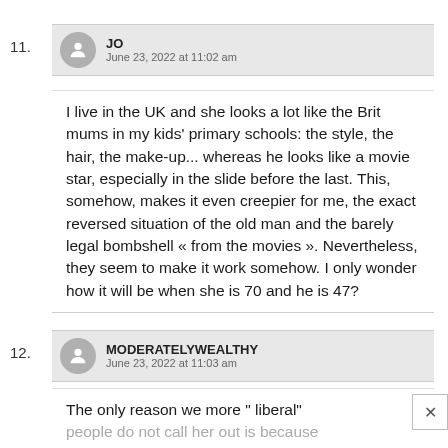11.
JO
June 23, 2022 at 11:02 am
I live in the UK and she looks a lot like the Brit mums in my kids' primary schools: the style, the hair, the make-up... whereas he looks like a movie star, especially in the slide before the last. This, somehow, makes it even creepier for me, the exact reversed situation of the old man and the barely legal bombshell « from the movies ». Nevertheless, they seem to make it work somehow. I only wonder how it will be when she is 70 and he is 47?
12.
MODERATELYWEALTHY
June 23, 2022 at 11:03 am
The only reason we more " liberal"
people do not call her out is because this story is usually about a teenager